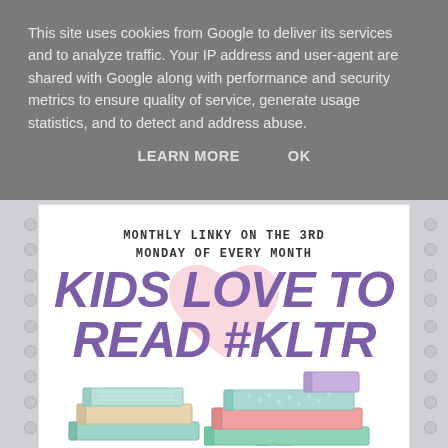This site uses cookies from Google to deliver its services and to analyze traffic. Your IP address and user-agent are shared with Google along with performance and security metrics to ensure quality of service, generate usage statistics, and to detect and address abuse.
LEARN MORE   OK
[Figure (illustration): Educational blog graphic: white card with notebook holes on left and right edges, showing text 'MONTHLY LINKY ON THE 3RD MONDAY OF EVERY MONTH' in monospace uppercase, large purple italic title 'KIDS LOVE TO READ #KLTR' with pink heart background, and illustrated stacks of colorful books at the bottom.]